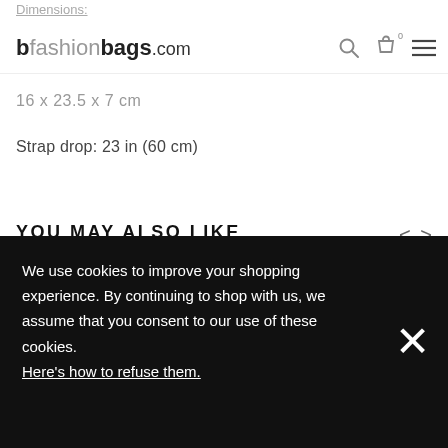Dimensions:
bfashionbags.com
16 x 23.5 x 7 cm
Strap drop: 23 in (60 cm)
YOU MAY ALSO LIKE
[Figure (other): Product image placeholder (grey box)]
We use cookies to improve your shopping experience. By continuing to shop with us, we assume that you consent to our use of these cookies. Here's how to refuse them.